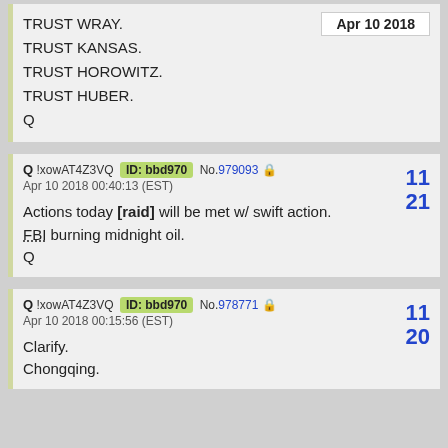TRUST WRAY.
TRUST KANSAS.
TRUST HOROWITZ.
TRUST HUBER.
Q
Apr 10 2018
Q !xowAT4Z3VQ ID: bbd970 No.979093
Apr 10 2018 00:40:13 (EST)
Actions today [raid] will be met w/ swift action.
FBI burning midnight oil.
Q
11
21
Q !xowAT4Z3VQ ID: bbd970 No.978771
Apr 10 2018 00:15:56 (EST)
Clarify.
Chongqing.
11
20